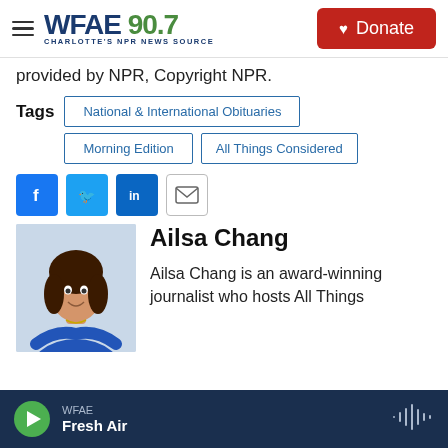WFAE 90.7 — Charlotte's NPR News Source | Donate
provided by NPR, Copyright NPR.
Tags: National & International Obituaries | Morning Edition | All Things Considered
[Figure (infographic): Social sharing buttons: Facebook, Twitter, LinkedIn, Email]
[Figure (photo): Photo of Ailsa Chang]
Ailsa Chang
Ailsa Chang is an award-winning journalist who hosts All Things
WFAE — Fresh Air (player bar)